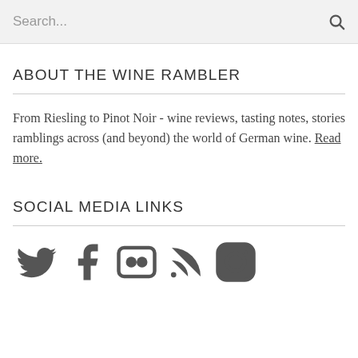Search...
ABOUT THE WINE RAMBLER
From Riesling to Pinot Noir - wine reviews, tasting notes, stories ramblings across (and beyond) the world of German wine. Read more.
SOCIAL MEDIA LINKS
[Figure (illustration): Social media icons: Twitter, Facebook, Flickr, RSS feed, Instagram]